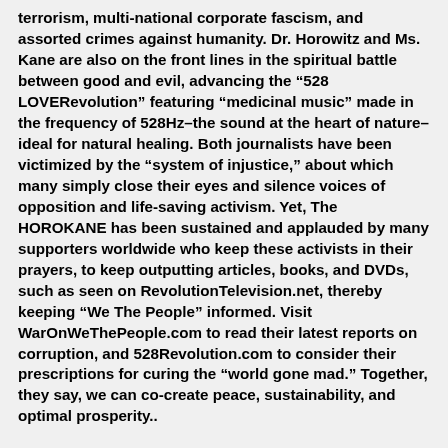terrorism, multi-national corporate fascism, and assorted crimes against humanity. Dr. Horowitz and Ms. Kane are also on the front lines in the spiritual battle between good and evil, advancing the “528 LOVERevolution” featuring “medicinal music” made in the frequency of 528Hz–the sound at the heart of nature–ideal for natural healing. Both journalists have been victimized by the “system of injustice,” about which many simply close their eyes and silence voices of opposition and life-saving activism. Yet, The HOROKANE has been sustained and applauded by many supporters worldwide who keep these activists in their prayers, to keep outputting articles, books, and DVDs, such as seen on RevolutionTelevision.net, thereby keeping “We The People” informed. Visit WarOnWeThePeople.com to read their latest reports on corruption, and 528Revolution.com to consider their prescriptions for curing the “world gone mad.” Together, they say, we can co-create peace, sustainability, and optimal prosperity..